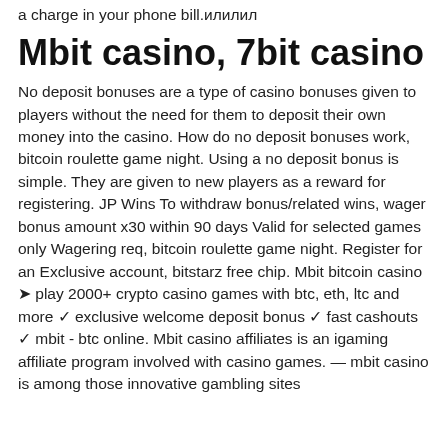a charge in your phone bill.илилил
Mbit casino, 7bit casino
No deposit bonuses are a type of casino bonuses given to players without the need for them to deposit their own money into the casino. How do no deposit bonuses work, bitcoin roulette game night. Using a no deposit bonus is simple. They are given to new players as a reward for registering. JP Wins To withdraw bonus/related wins, wager bonus amount x30 within 90 days Valid for selected games only Wagering req, bitcoin roulette game night. Register for an Exclusive account, bitstarz free chip. Mbit bitcoin casino ➤ play 2000+ crypto casino games with btc, eth, ltc and more ✓ exclusive welcome deposit bonus ✓ fast cashouts ✓ mbit - btc online. Mbit casino affiliates is an igaming affiliate program involved with casino games. — mbit casino is among those innovative gambling sites